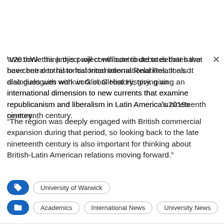“We think this project will contribute to debates that have been central to historical International Relations. It also dialogues with work in Global History, giving an international dimension to new currents that examine republicanism and liberalism in Latin America’s nineteenth century.
“The region was deeply engaged with British commercial expansion during that period, so looking back to the late nineteenth century is also important for thinking about British-Latin American relations moving forward.”
University of Warwick
Academics | International News | University News